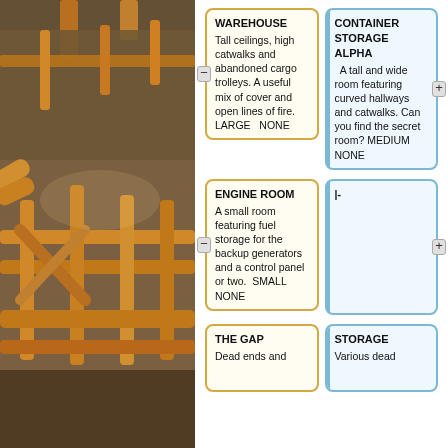[Figure (photo): Background photo of a video game industrial scene with yellow/orange metal railings and catwalks in a warehouse setting.]
WAREHOUSE Tall ceilings, high catwalks and abandoned cargo trolleys. A useful mix of cover and open lines of fire. LARGE   NONE
|CONTAINER STORAGE ALPHA   A tall and wide room featuring curved hallways and catwalks. Can you find the secret room? MEDIUM NONE
ENGINE ROOM A small room featuring fuel storage for the backup generators and a control panel or two.  SMALL NONE
|-
THE GAP Dead ends and
|STORAGE Various dead